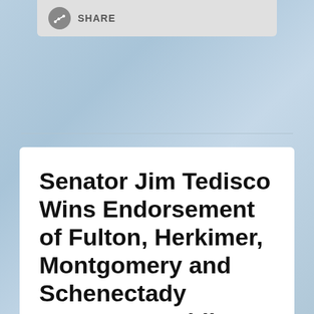[Figure (screenshot): Share button bar with network/share icon and SHARE label on gray background]
Senator Jim Tedisco Wins Endorsement of Fulton, Herkimer, Montgomery and Schenectady County Republican